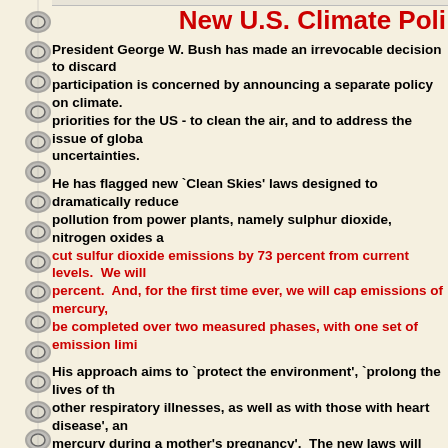New U.S. Climate Poli...
President George W. Bush has made an irrevocable decision to discard... participation is concerned by announcing a separate policy on climate... priorities for the US - to clean the air, and to address the issue of globa... uncertainties.
He has flagged new `Clean Skies' laws designed to dramatically reduce... pollution from power plants, namely sulphur dioxide, nitrogen oxides a... cut sulfur dioxide emissions by 73 percent from current levels. We will... percent. And, for the first time ever, we will cap emissions of mercury,... be completed over two measured phases, with one set of emission limi...
His approach aims to `protect the environment', `prolong the lives of th... other respiratory illnesses, as well as with those with heart disease', an... mercury during a mother's pregnancy'. The new laws will operate via a... which he expects to have broad support in Congress.
But on climate, he was more circumspect - "Now, global climate chang... requires a different strategy. The science is more complex, the answe... developed. So we need a flexible approach that can adjust to new info...
He stated goal is to reduce America's greenhouse gas emissions "relat... cutting greenhouse gas intensity (or how much is emitted per unit of e... next 10 years. This latter approach is somewhat vague in comparison w...
But then Bush states his bottom line. "Our nation must have economic...